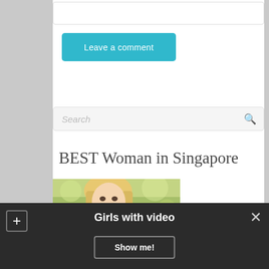[Figure (screenshot): White input/text box at top of webpage content area]
[Figure (screenshot): Teal/cyan 'Leave a comment' button]
[Figure (screenshot): Search input box with placeholder text 'Search' and magnifier icon]
BEST Woman in Singapore
[Figure (photo): Photo of a blonde woman outdoors with blurred green background]
Girls with video
[Figure (screenshot): Dark bottom bar with plus button, 'Girls with video' text, 'Show me!' button, and close X button]